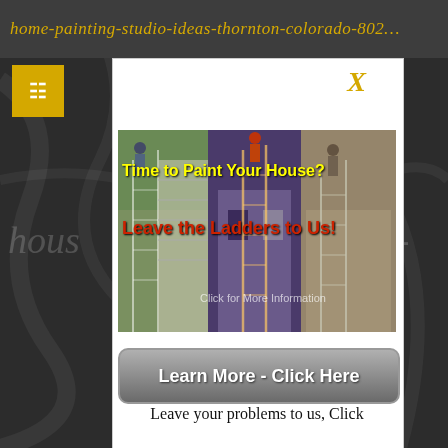home-painting-studio-ideas-thornton-colorado-802…
[Figure (screenshot): Yellow square icon button in the header area]
hous… ado-
[Figure (photo): Collage of three house painting photos with overlay text: 'Time to Paint Your House?' in yellow and 'Leave the Ladders to Us!' in red. Bottom text: 'Click for More Information']
X
Learn More - Click Here
Leave your problems to us, Click
ESTIMATION